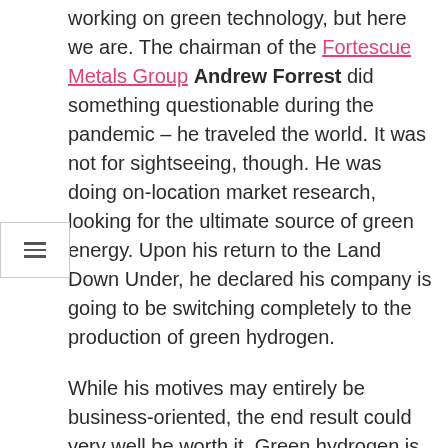working on green technology, but here we are. The chairman of the Fortescue Metals Group Andrew Forrest did something questionable during the pandemic – he traveled the world. It was not for sightseeing, though. He was doing on-location market research, looking for the ultimate source of green energy. Upon his return to the Land Down Under, he declared his company is going to be switching completely to the production of green hydrogen.
While his motives may entirely be business-oriented, the end result could very well be worth it. Green hydrogen is produced by harnessing solar and hydropower and can be used as fuel.
Forrest realizes this and, apparently, hopes to leave his competitors in the dust in what might be a